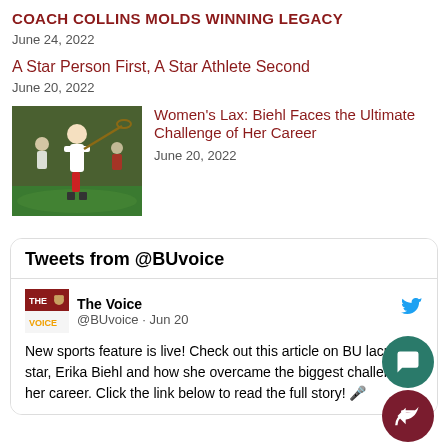COACH COLLINS MOLDS WINNING LEGACY
June 24, 2022
A Star Person First, A Star Athlete Second
June 20, 2022
[Figure (photo): Women's lacrosse player in action on field]
Women's Lax: Biehl Faces the Ultimate Challenge of Her Career
June 20, 2022
Tweets from @BUvoice
The Voice @BUvoice · Jun 20
New sports feature is live! Check out this article on BU lacrosse star, Erika Biehl and how she overcame the biggest challenge of her career. Click the link below to read the full story! 🎤